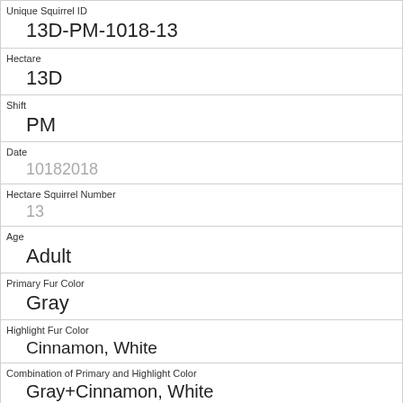| Unique Squirrel ID | 13D-PM-1018-13 |
| Hectare | 13D |
| Shift | PM |
| Date | 10182018 |
| Hectare Squirrel Number | 13 |
| Age | Adult |
| Primary Fur Color | Gray |
| Highlight Fur Color | Cinnamon, White |
| Combination of Primary and Highlight Color | Gray+Cinnamon, White |
| Color notes | Gray, Cinnamon & White selected as Primary. White selected as Highlights. Made executive adjustments. |